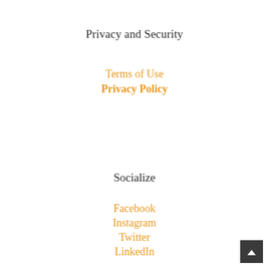Privacy and Security
Terms of Use
Privacy Policy
Socialize
Facebook
Instagram
Twitter
LinkedIn